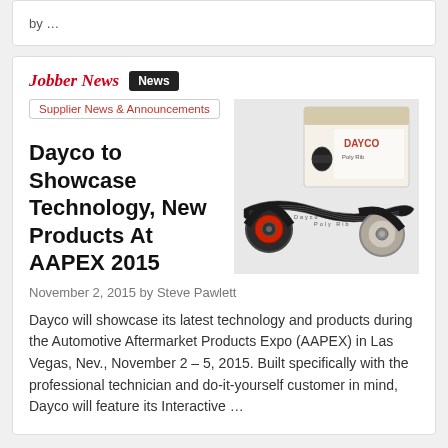by …
Jobber News  News
Supplier News & Announcements
Dayco to Showcase Technology, New Products At AAPEX 2015
November 2, 2015 by Steve Pawlett
[Figure (photo): Dayco automotive belt products including serpentine belt, tensioner, and product box with Dayco branding]
Dayco will showcase its latest technology and products during the Automotive Aftermarket Products Expo (AAPEX) in Las Vegas, Nev., November 2 – 5, 2015. Built specifically with the professional technician and do-it-yourself customer in mind, Dayco will feature its Interactive …